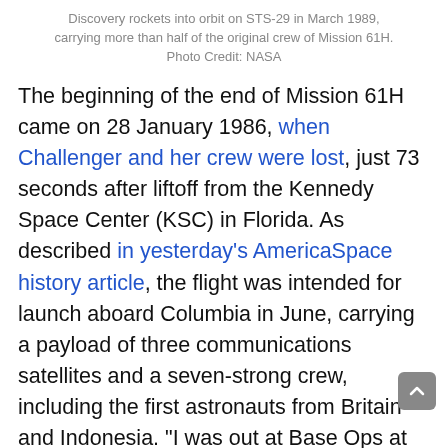Discovery rockets into orbit on STS-29 in March 1989, carrying more than half of the original crew of Mission 61H. Photo Credit: NASA
The beginning of the end of Mission 61H came on 28 January 1986, when Challenger and her crew were lost, just 73 seconds after liftoff from the Kennedy Space Center (KSC) in Florida. As described in yesterday's AmericaSpace history article, the flight was intended for launch aboard Columbia in June, carrying a payload of three communications satellites and a seven-strong crew, including the first astronauts from Britain and Indonesia. "I was out at Base Ops at Ellington [Field], getting ready to fly in a T-38," recalled Pilot John Blaha of his movements on the morning of the tragedy. "As soon as the Challenger launched, I was going to walk outside and